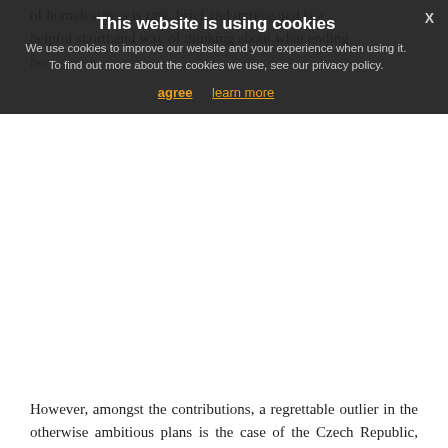of homelessness is rare, brief and unrepeated is a helpful shorthand way of thinking about what ending homelessness means.
However, amongst the contributions, a regrettable outlier in the otherwise ambitious plans is the case of the Czech Republic, where the strategic approach to homelessness, which covered the period 2013-2020, was not renewed in 2021. This is regrettable, because evidence-based, housing-led strategies have demonstrably reduced the number of households experiencing homelessness in two of the countries discussed in this edition, Finland and Norway.
Synergies between housing and support services
The Spanish, German, Danish and Norwegian papers all stress the importance of housing and support in